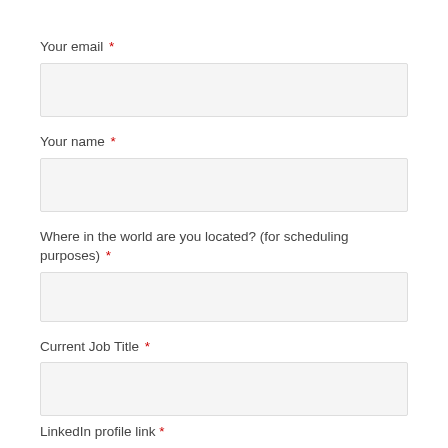Your email *
[Figure (other): Text input field for email]
Your name *
[Figure (other): Text input field for name]
Where in the world are you located? (for scheduling purposes) *
[Figure (other): Text input field for location]
Current Job Title *
[Figure (other): Text input field for current job title]
LinkedIn profile link *